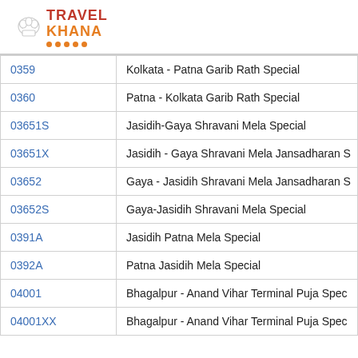[Figure (logo): Travel Khana logo with chef hat icon, red TRAVEL text, orange KHANA text, and orange dots underline]
| Code | Name |
| --- | --- |
| 0359 | Kolkata - Patna Garib Rath Special |
| 0360 | Patna - Kolkata Garib Rath Special |
| 03651S | Jasidih-Gaya Shravani Mela Special |
| 03651X | Jasidih - Gaya Shravani Mela Jansadharan S |
| 03652 | Gaya - Jasidih Shravani Mela Jansadharan S |
| 03652S | Gaya-Jasidih Shravani Mela Special |
| 0391A | Jasidih Patna Mela Special |
| 0392A | Patna Jasidih Mela Special |
| 04001 | Bhagalpur - Anand Vihar Terminal Puja Spec |
| 04001XX | Bhagalpur - Anand Vihar Terminal Puja Spec |